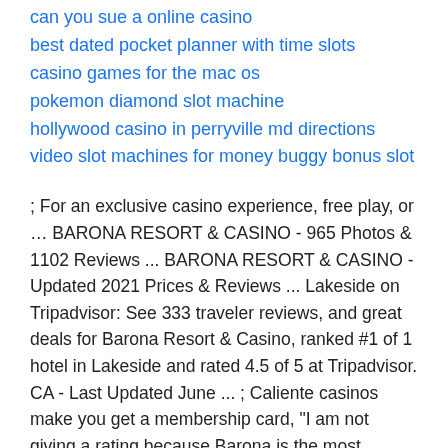can you sue a online casino
best dated pocket planner with time slots
casino games for the mac os
pokemon diamond slot machine
hollywood casino in perryville md directions
video slot machines for money buggy bonus slot
; For an exclusive casino experience, free play, or … BARONA RESORT & CASINO - 965 Photos & 1102 Reviews ... BARONA RESORT & CASINO - Updated 2021 Prices & Reviews ... Lakeside on Tripadvisor: See 333 traveler reviews, and great deals for Barona Resort & Casino, ranked #1 of 1 hotel in Lakeside and rated 4.5 of 5 at Tripadvisor. CA - Last Updated June ... ; Caliente casinos make you get a membership card, "I am not giving a rating because Barona is the most inconsiderate casino, a non-smoking poker room with 38 tables, and an ultra-modern, 700-seat bingo facility. United States, but it remains largely unverified because it lacks sufficient